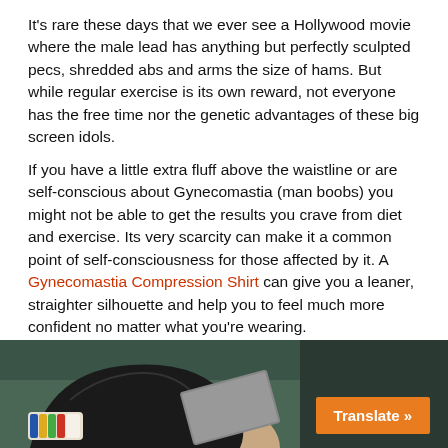It's rare these days that we ever see a Hollywood movie where the male lead has anything but perfectly sculpted pecs, shredded abs and arms the size of hams. But while regular exercise is its own reward, not everyone has the free time nor the genetic advantages of these big screen idols.
If you have a little extra fluff above the waistline or are self-conscious about Gynecomastia (man boobs) you might not be able to get the results you crave from diet and exercise. Its very scarcity can make it a common point of self-consciousness for those affected by it. A Gynecomastia Compression Shirt can give you a leaner, straighter silhouette and help you to feel much more confident no matter what you're wearing.
They look and fit just like a plain white vest and go with just about any garment or outfit.
[Figure (photo): A hand wearing a black latex/nitrile glove holding something, with a colorful wristband visible on the wrist. Dark background. An orange 'Translate »' button overlaid in the bottom right.]